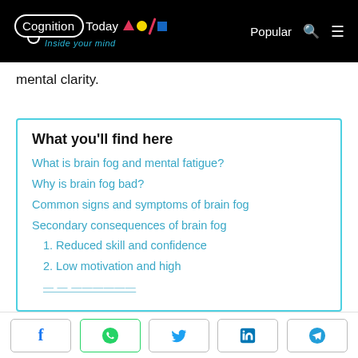Cognition Today — Inside your mind | Popular
mental clarity.
What you'll find here
What is brain fog and mental fatigue?
Why is brain fog bad?
Common signs and symptoms of brain fog
Secondary consequences of brain fog
1. Reduced skill and confidence
2. Low motivation and high
procrastination